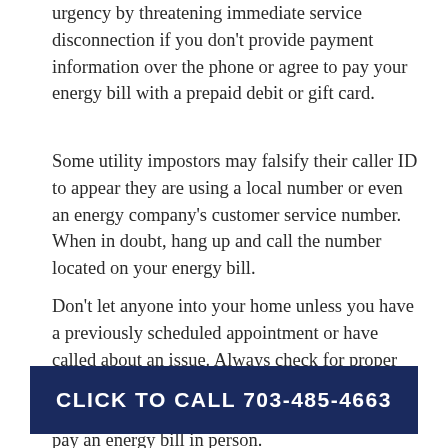urgency by threatening immediate service disconnection if you don't provide payment information over the phone or agree to pay your energy bill with a prepaid debit or gift card.
Some utility impostors may falsify their caller ID to appear they are using a local number or even an energy company's customer service number. When in doubt, hang up and call the number located on your energy bill.
Don't let anyone into your home unless you have a previously scheduled appointment or have called about an issue. Always check for proper identification before letting personnel in. Additionally, utility workers won't ask you to pay an energy bill in person.
What to do if you think you have received a scam phone call:
CLICK TO CALL 703-485-4663